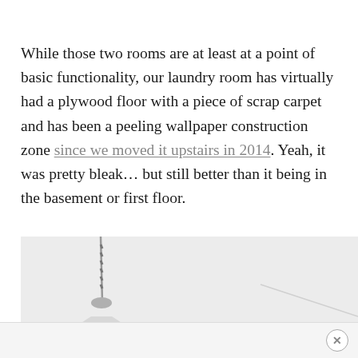While those two rooms are at least at a point of basic functionality, our laundry room has virtually had a plywood floor with a piece of scrap carpet and has been a peeling wallpaper construction zone since we moved it upstairs in 2014. Yeah, it was pretty bleak... but still better than it being in the basement or first floor.
[Figure (photo): A pendant light fixture hanging from the ceiling, showing the cord and top of the lamp shade against a light gray background, partially cropped at bottom of page.]